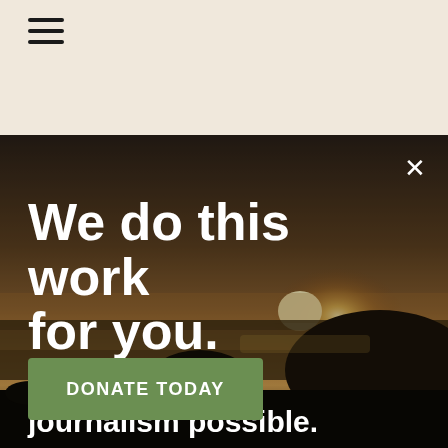The hottest movie talent in Yamhill County this weekend isn't at a theater. That distinction belongs to the Ice Auditorium on the Linfield College campus, where the McMinnville Short Film Festival will be held
[Figure (photo): Sunset over ocean with silhouetted coastal rock formations and vegetation. Dark atmospheric landscape with golden sun on horizon.]
We do this work for you.
Make our arts journalism possible.
DONATE TODAY